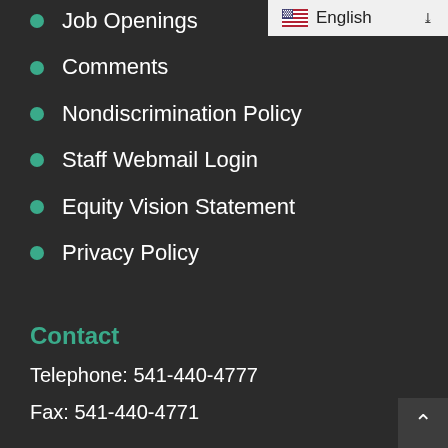[Figure (screenshot): Language selector dropdown showing US flag and 'English' with chevron]
Job Openings
Comments
Nondiscrimination Policy
Staff Webmail Login
Equity Vision Statement
Privacy Policy
Contact
Telephone: 541-440-4777
Fax: 541-440-4771